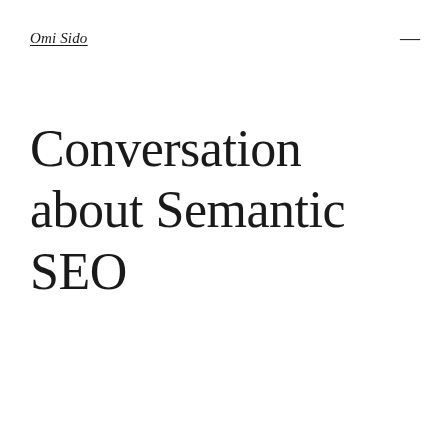Omi Sido
Conversation about Semantic SEO